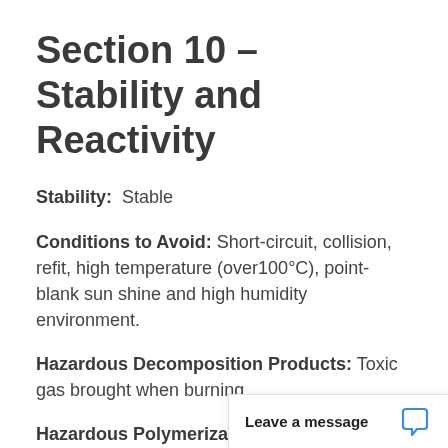Section 10 – Stability and Reactivity
Stability: Stable
Conditions to Avoid: Short-circuit, collision, refit, high temperature (over100°C), point-blank sun shine and high humidity environment.
Hazardous Decomposition Products: Toxic gas brought when burning.
Hazardous Polymerization: N/A
Incompatibility (M...